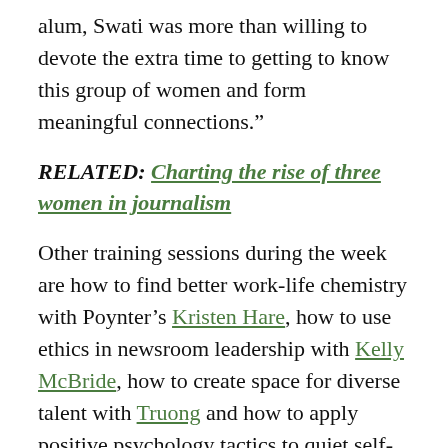alum, Swati was more than willing to devote the extra time to getting to know this group of women and form meaningful connections.”
RELATED: Charting the rise of three women in journalism
Other training sessions during the week are how to find better work-life chemistry with Poynter’s Kristen Hare, how to use ethics in newsroom leadership with Kelly McBride, how to create space for diverse talent with Truong and how to apply positive psychology tactics to quiet self-doubt with Ragland.
Those chosen for Poynter’s Leadership Academy for Women in Media passed